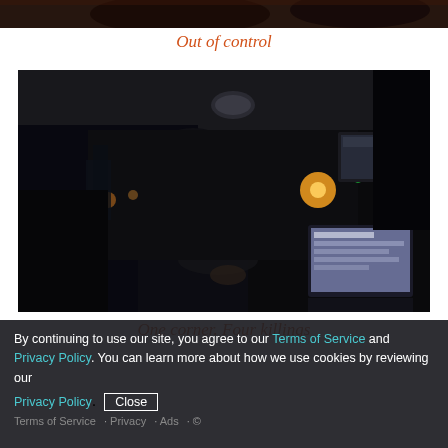[Figure (photo): Top portion of a dark photograph, likely outdoor scene, partially visible at top of page]
Out of control
[Figure (photo): Dark interior of a police car at night, officer visible from behind, laptop/computer on passenger side, city lights visible through windshield]
One corner. Four killings
By continuing to use our site, you agree to our Terms of Service and Privacy Policy. You can learn more about how we use cookies by reviewing our Privacy Policy.
Close
Terms of Service · Privacy · Ads · ©